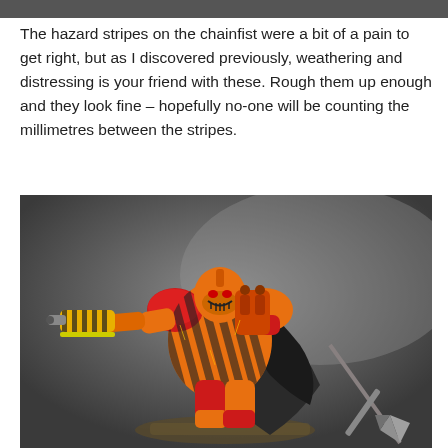The hazard stripes on the chainfist were a bit of a pain to get right, but as I discovered previously, weathering and distressing is your friend with these. Rough them up enough and they look fine – hopefully no-one will be counting the millimetres between the stripes.
[Figure (photo): A painted Warhammer 40k Space Marine miniature in red and yellow armor with hazard stripes, holding a chainfist weapon extended forward, with a dark cloak and a spike/banner pole behind, photographed against a dark grey background.]